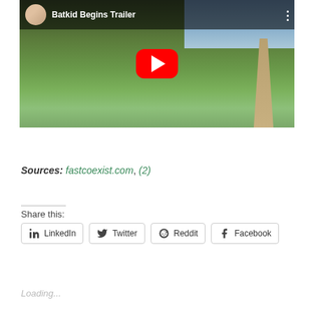[Figure (screenshot): YouTube video thumbnail for 'Batkid Begins Trailer' showing a child in a Batman shirt and blue cap running through a green field, with YouTube play button overlay and channel avatar in top bar.]
Sources: fastcoexist.com, (2)
Share this:
LinkedIn  Twitter  Reddit  Facebook
Loading...